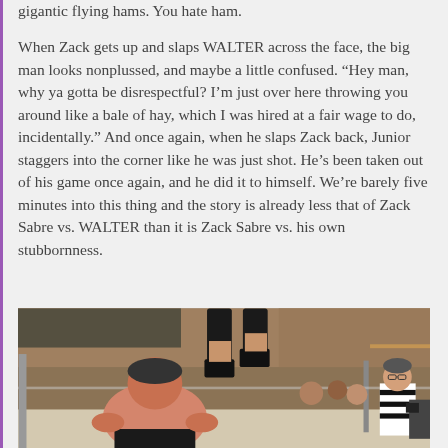gigantic flying hams. You hate ham.
When Zack gets up and slaps WALTER across the face, the big man looks nonplussed, and maybe a little confused. “Hey man, why ya gotta be disrespectful? I’m just over here throwing you around like a bale of hay, which I was hired at a fair wage to do, incidentally.” And once again, when he slaps Zack back, Junior staggers into the corner like he was just shot. He’s been taken out of his game once again, and he did it to himself. We’re barely five minutes into this thing and the story is already less that of Zack Sabre vs. WALTER than it is Zack Sabre vs. his own stubbornness.
[Figure (photo): A wrestling match photo showing a large wrestler crouching/bending forward in the ring while another wrestler's legs are visible in the air above, with a referee in black and white stripes visible in the background. Indoor venue with brick walls.]